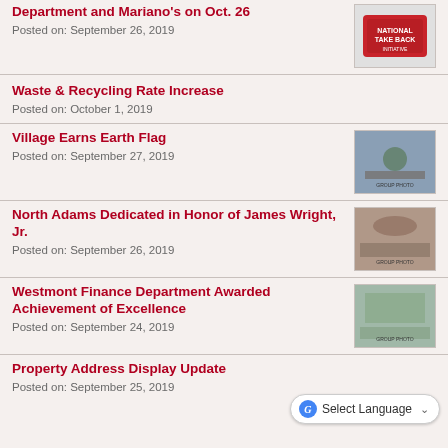Department and Mariano's on Oct. 26
Posted on: September 26, 2019
Waste & Recycling Rate Increase
Posted on: October 1, 2019
Village Earns Earth Flag
Posted on: September 27, 2019
North Adams Dedicated in Honor of James Wright, Jr.
Posted on: September 26, 2019
Westmont Finance Department Awarded Achievement of Excellence
Posted on: September 24, 2019
Property Address Display Update
Posted on: September 25, 2019